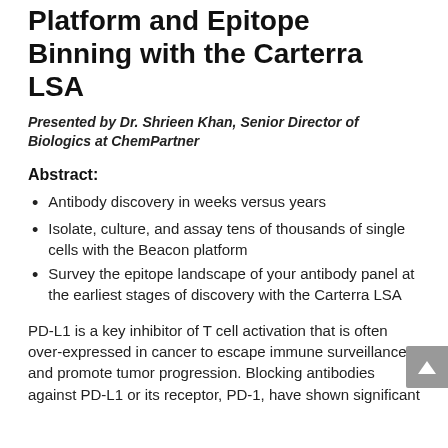Platform and Epitope Binning with the Carterra LSA
Presented by Dr. Shrieen Khan, Senior Director of Biologics at ChemPartner
Abstract:
Antibody discovery in weeks versus years
Isolate, culture, and assay tens of thousands of single cells with the Beacon platform
Survey the epitope landscape of your antibody panel at the earliest stages of discovery with the Carterra LSA
PD-L1 is a key inhibitor of T cell activation that is often over-expressed in cancer to escape immune surveillance and promote tumor progression. Blocking antibodies against PD-L1 or its receptor, PD-1, have shown significant